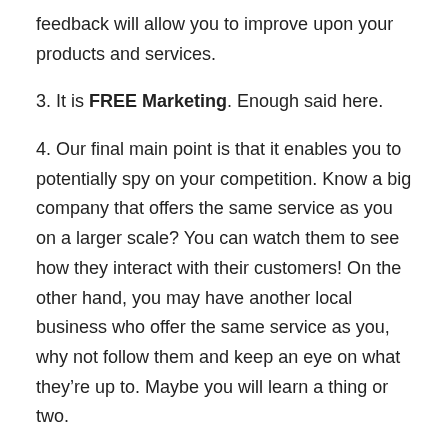feedback will allow you to improve upon your products and services.
3. It is FREE Marketing. Enough said here.
4. Our final main point is that it enables you to potentially spy on your competition. Know a big company that offers the same service as you on a larger scale? You can watch them to see how they interact with their customers! On the other hand, you may have another local business who offer the same service as you, why not follow them and keep an eye on what they’re up to. Maybe you will learn a thing or two.
So if after reading our reasons for joining twitter, you’re ready and raring to go don’t hesitate in giving us a call today on 08456 189700 for a chat about our Twitter